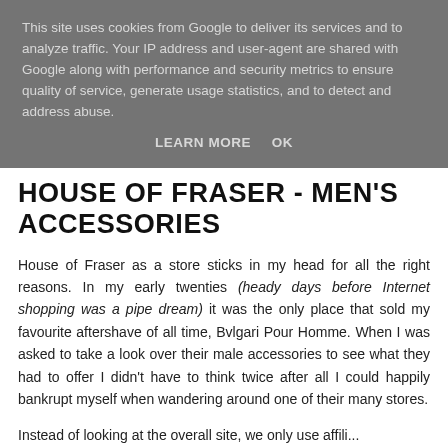This site uses cookies from Google to deliver its services and to analyze traffic. Your IP address and user-agent are shared with Google along with performance and security metrics to ensure quality of service, generate usage statistics, and to detect and address abuse.
LEARN MORE   OK
HOUSE OF FRASER - MEN'S ACCESSORIES
House of Fraser as a store sticks in my head for all the right reasons. In my early twenties (heady days before Internet shopping was a pipe dream) it was the only place that sold my favourite aftershave of all time, Bvlgari Pour Homme. When I was asked to take a look over their male accessories to see what they had to offer I didn't have to think twice after all I could happily bankrupt myself when wandering around one of their many stores.
Instead of looking at the overall site, we only use affiliate...